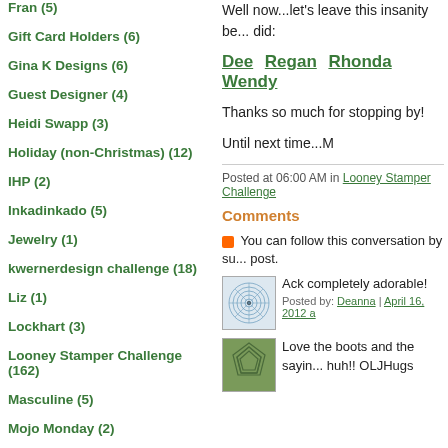Fran (5)
Gift Card Holders (6)
Gina K Designs (6)
Guest Designer (4)
Heidi Swapp (3)
Holiday (non-Christmas) (12)
IHP (2)
Inkadinkado (5)
Jewelry (1)
kwernerdesign challenge (18)
Liz (1)
Lockhart (3)
Looney Stamper Challenge (162)
Masculine (5)
Mojo Monday (2)
My Favorite Things (12)
Our Craft Lounge (1)
Papertrey Blog Hop (20)
Well now...let's leave this insanity be... did:
Dee  Regan  Rhonda  Wendy
Thanks so much for stopping by!
Until next time...M
Posted at 06:00 AM in Looney Stamper Challenge
Comments
You can follow this conversation by subscribing to the comment feed for this post.
Ack completely adorable!
Posted by: Deanna | April 16, 2012
Love the boots and the saying...huh!! OLJHugs